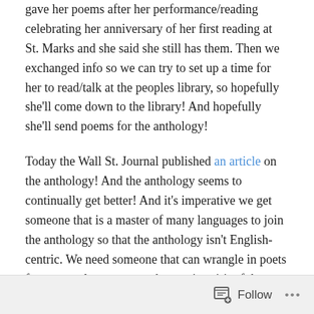gave her poems after her performance/reading celebrating her anniversary of her first reading at St. Marks and she said she still has them. Then we exchanged info so we can try to set up a time for her to read/talk at the peoples library, so hopefully she'll come down to the library! And hopefully she'll send poems for the anthology!
Today the Wall St. Journal published an article on the anthology! And the anthology seems to continually get better! And it's imperative we get someone that is a master of many languages to join the anthology so that the anthology isn't English-centric. We need someone that can wrangle in poets from many languages so the poetic spirit of the anthology transcends language barriers. I feel the poems shouldn't be translated as that would create a hierarchy of language, but that poems from all l...
Follow